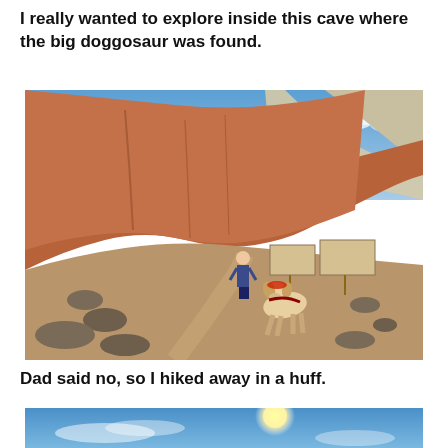I really wanted to explore inside this cave where the big doggosaur was found.
[Figure (photo): A dog wearing a harness and hat walking on a desert trail path near informational signs, with a person standing in the background. Large red and tan badlands rock formations visible behind. Blue sky above.]
Dad said no, so I hiked away in a huff.
[Figure (photo): Partial view of a blue sky with bright sun and wispy clouds, appearing to be the top of another outdoor photo.]